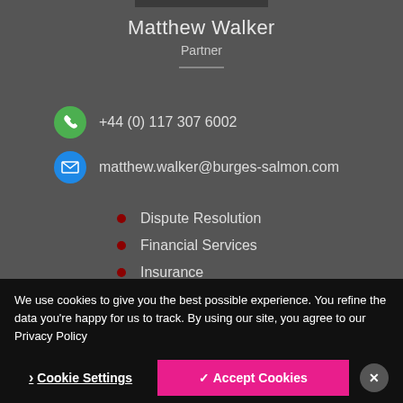[Figure (photo): Partial photo of Matthew Walker at the top of the page]
Matthew Walker
Partner
+44 (0) 117 307 6002
matthew.walker@burges-salmon.com
Dispute Resolution
Financial Services
Insurance
We use cookies to give you the best possible experience. You refine the data you're happy for us to track. By using our site, you agree to our Privacy Policy
Cookie Settings
✓ Accept Cookies